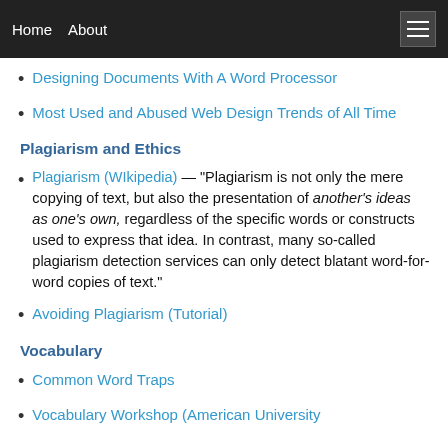Home  About
Designing Documents With A Word Processor
Most Used and Abused Web Design Trends of All Time
Plagiarism and Ethics
Plagiarism (WIkipedia) — "Plagiarism is not only the mere copying of text, but also the presentation of another's ideas as one's own, regardless of the specific words or constructs used to express that idea. In contrast, many so-called plagiarism detection services can only detect blatant word-for-word copies of text."
Avoiding Plagiarism (Tutorial)
Vocabulary
Common Word Traps
Vocabulary Workshop (American University